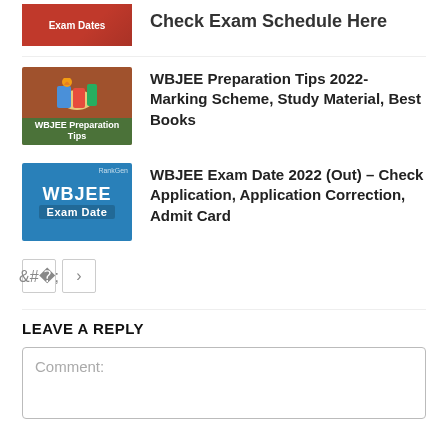[Figure (illustration): Red thumbnail for Exam Dates article, partially visible at top]
Check Exam Schedule Here
[Figure (illustration): Brown thumbnail showing student reading with books and WBJEE Preparation Tips label]
WBJEE Preparation Tips 2022- Marking Scheme, Study Material, Best Books
[Figure (illustration): Blue thumbnail with WBJEE Exam Date text]
WBJEE Exam Date 2022 (Out) – Check Application, Application Correction, Admit Card
< >
LEAVE A REPLY
Comment: